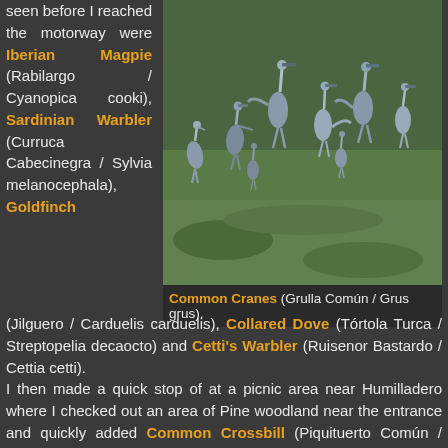seen before I reached the motorway were Iberian Magpie (Rabilargo / Cyanopica cooki), Sardinian Warbler (Curruca Cabecinegra / Sylvia melanocephala), Goldfinch
[Figure (photo): Photo of Common Cranes (Grulla Común / Grus grus) standing on green grass field]
Common Cranes (Grulla Común / Grus grus).
(Jilguero / Carduelis carduelis), Collared Dove (Tórtola Turca / Streptopelia decaocto) and Cetti's Warbler (Ruisenor Bastardo / Cettia cetti). I then made a quick stop of at a picnic area near Humilladero where I checked out an area of Pine woodland near the entrance and quickly added Common Crossbill (Piquituerto Común / Loxia curvirostra), Dartford Warbler (Curruca Rabilargo / Sylvia undata), Rock Bunting (Escribano Montesino / Emberiza cia) and a flock of 5 or 6 Siskin (Lúgano / Carduelis spinus) which appear to be much